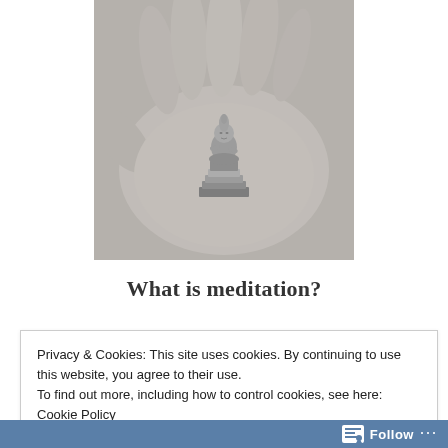[Figure (photo): Black and white photo of a hand holding a small Buddha figurine/statue in the palm]
What is meditation?
Privacy & Cookies: This site uses cookies. By continuing to use this website, you agree to their use.
To find out more, including how to control cookies, see here: Cookie Policy
Close and accept
Follow